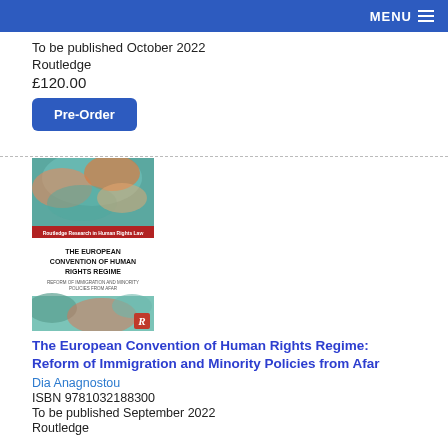MENU
To be published October 2022
Routledge
£120.00
Pre-Order
[Figure (illustration): Book cover of 'The European Convention of Human Rights Regime: Reform of Immigration and Minority Policies from Afar' by Dia Anagnostou, published by Routledge. Cover features abstract colorful artwork with teal and orange textures, white center section with black title text, and a red Routledge logo at the bottom right.]
The European Convention of Human Rights Regime: Reform of Immigration and Minority Policies from Afar
Dia Anagnostou
ISBN 9781032188300
To be published September 2022
Routledge